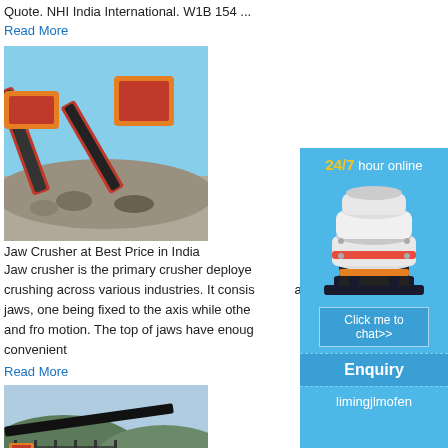Quote. NHI India International. W1B 154 ...
Read More
[Figure (photo): Industrial jaw crusher / conveyor equipment at a mining or quarry site, showing red conveyor belts and crushed stone]
Jaw Crusher at Best Price in India
Jaw crusher is the primary crusher deployed crushing across various industries. It consists al jaws, one being fixed to the axis while others and fro motion. The top of jaws have enough convenient
Read More
[Figure (photo): Outdoor mining/quarry site with conveyor belt visible against hills and sky]
[Figure (infographic): Sidebar advertisement: 24/7 hour online, image of industrial cone crusher machine, Click me to chat>> button, Enquiry, limingjlmofen]
24/7 hour online
Click me to chat>>
Enquiry
limingjlmofen